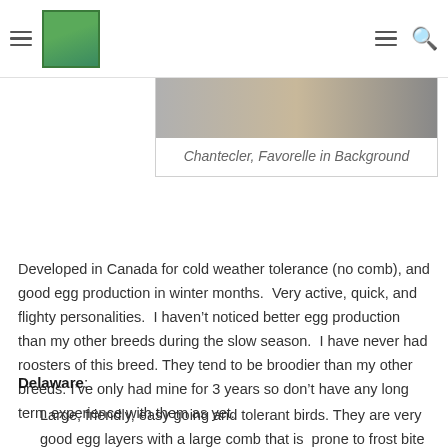[navigation header with hamburger menus, logo, and search icon]
[Figure (photo): Partial photo of chickens — Chantecler with Favorelle in background]
Chantecler, Favorelle in Background
Developed in Canada for cold weather tolerance (no comb), and good egg production in winter months.  Very active, quick, and flighty personalities.  I haven't noticed better egg production than my other breeds during the slow season.  I have never had roosters of this breed.  They tend to be broodier than my other breeds.  I've only had mine for 3 years so don't have any long term experience with them as yet.
Delaware:
Large, friendly, easy going and tolerant birds.  They are very good egg layers with a large comb that is  prone to frost bite even here in central NJ.  The roosters are wonderful, safe even for